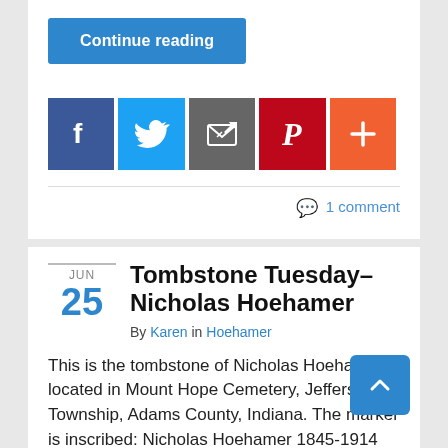Continue reading
[Figure (infographic): Row of social sharing icons: Facebook (blue), Twitter (light blue), Email/share (gray), Pinterest (red), More/plus (orange)]
1 comment
Tombstone Tuesday–Nicholas Hoehamer
By Karen in Hoehamer
This is the tombstone of Nicholas Hoehamer, located in Mount Hope Cemetery, Jefferson Township, Adams County, Indiana. The marker is inscribed: Nicholas Hoehamer 1845-1914 Last week I wrote about William and Barbara (Hoehamer) All…